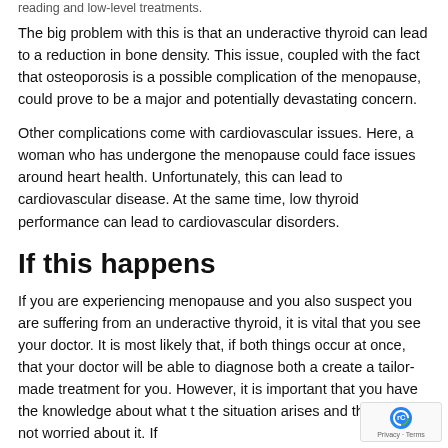reading and low-level treatments.
The big problem with this is that an underactive thyroid can lead to a reduction in bone density. This issue, coupled with the fact that osteoporosis is a possible complication of the menopause, could prove to be a major and potentially devastating concern.
Other complications come with cardiovascular issues. Here, a woman who has undergone the menopause could face issues around heart health. Unfortunately, this can lead to cardiovascular disease. At the same time, low thyroid performance can lead to cardiovascular disorders.
If this happens
If you are experiencing menopause and you also suspect you are suffering from an underactive thyroid, it is vital that you see your doctor. It is most likely that, if both things occur at once, that your doctor will be able to diagnose both a create a tailor-made treatment for you. However, it is important that you have the knowledge about what t the situation arises and that you are not worried about it. If